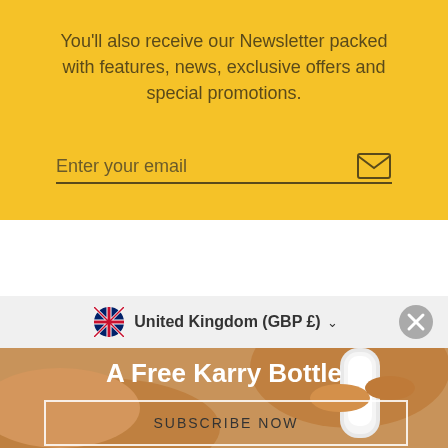You'll also receive our Newsletter packed with features, news, exclusive offers and special promotions.
Enter your email
United Kingdom (GBP £)
A Free Karry Bottle
SUBSCRIBE NOW